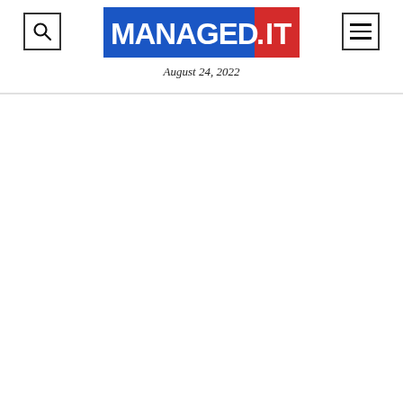[Figure (logo): MANAGED.IT logo — white bold text on blue rectangle with red square on the right containing 'IT']
August 24, 2022